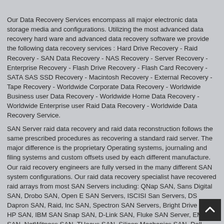Our Data Recovery Services encompass all major electronic data storage media and configurations. Utilizing the most advanced data recovery hard ware and advanced data recovery software we provide the following data recovery services : Hard Drive Recovery - Raid Recovery - SAN Data Recovery - NAS Recovery - Server Recovery - Enterprise Recovery - Flash Drive Recovery - Flash Card Recovery - SATA SAS SSD Recovery - Macintosh Recovery - External Recovery - Tape Recovery - Worldwide Corporate Data Recovery - Worldwide Business user Data Recovery - Worldwide Home Data Recovery - Worldwide Enterprise user Raid Data Recovery - Worldwide Data Recovery Service.
SAN Server raid data recovery and raid data reconstruction follows the same prescribed procedures as recovering a standard raid server. The major difference is the proprietary Operating systems, journaling and filing systems and custom offsets used by each different manufacture. Our raid recovery engineers are fully versed in the many different SAN system configurations. Our raid data recovery specialist have recovered raid arrays from most SAN Servers including: QNap SAN, Sans Digital SAN, Drobo SAN, Open E SAN Servers, ISCISI San Servers, DS Dapron SAN, Raid, Inc SAN, Spectron SAN Servers, Bright Drive SAN, HP SAN, IBM SAN Snap SAN, D-Link SAN, Fluke SAN Server, EMC SAN, NetWitness SAN, THecus SAN, Silicon Mechanics SAN, Dell SAN Servers,